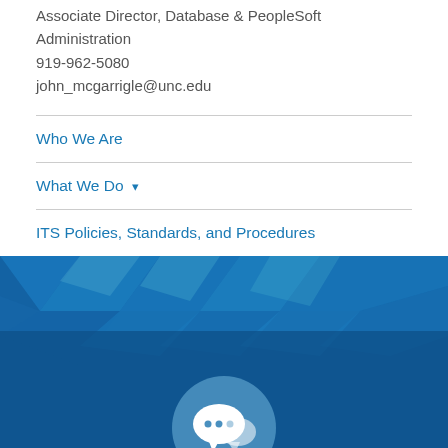Associate Director, Database & PeopleSoft Administration
919-962-5080
john_mcgarrigle@unc.edu
Who We Are
What We Do
ITS Policies, Standards, and Procedures
[Figure (illustration): Blue geometric polygon banner background with a white chat bubble icon circle at center bottom]